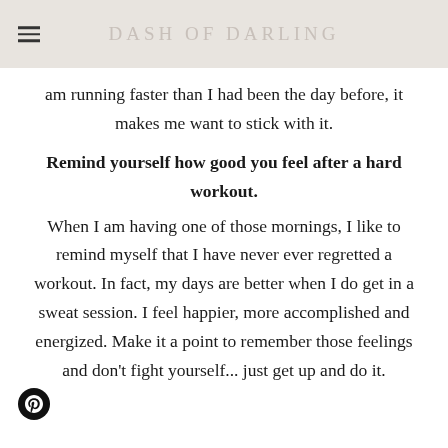DASH OF DARLING
am running faster than I had been the day before, it makes me want to stick with it.
Remind yourself how good you feel after a hard workout.
When I am having one of those mornings, I like to remind myself that I have never ever regretted a workout. In fact, my days are better when I do get in a sweat session. I feel happier, more accomplished and energized. Make it a point to remember those feelings and don't fight yourself... just get up and do it.